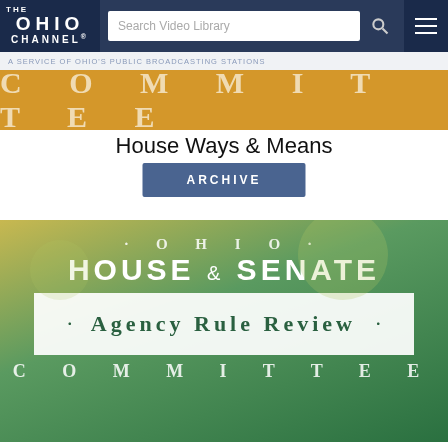[Figure (screenshot): The Ohio Channel website header with logo, search bar, and navigation]
A SERVICE OF OHIO'S PUBLIC BROADCASTING STATIONS
[Figure (screenshot): Committee banner with gold background showing the word COMMITTEE in spaced serif letters]
House Ways & Means
ARCHIVE
[Figure (screenshot): Ohio House & Senate Agency Rule Review Committee banner with green background, decorative elements, and white box containing committee name]